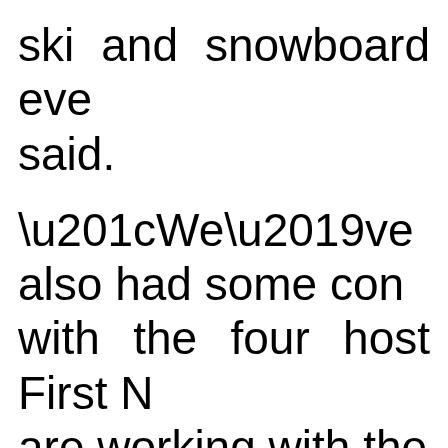ski and snowboard eve said.
“We’ve also had some co with the four host First N are working with the Olympic Committee.”
Raine said to his representatives from the First Nations have